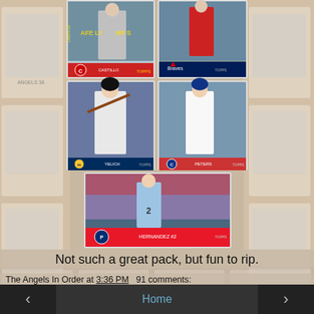[Figure (photo): Collage of baseball cards arranged in rows: top row shows two Topps cards (Cincinnati Reds batter and Atlanta Braves pitcher), middle row shows two Topps cards (Milwaukee Brewers batter and Chicago Cubs pitcher), bottom center shows one Topps card (Phillies player #2). Background shows faded vintage baseball cards on left and right sides.]
Not such a great pack, but fun to rip.
The Angels In Order at 3:36 PM    91 comments:
< Home >